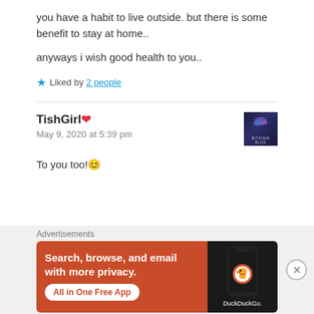you have a habit to live outside. but there is some benefit to stay at home..
anyways i wish good health to you..
★ Liked by 2 people
TishGirl❤
May 9, 2020 at 5:39 pm
To you too!😊
Advertisements
[Figure (screenshot): DuckDuckGo advertisement banner: 'Search, browse, and email with more privacy. All in One Free App' with DuckDuckGo logo on a smartphone on dark background, orange banner]